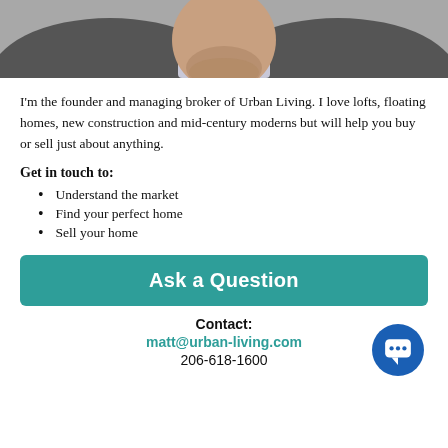[Figure (photo): Partial portrait photo of a man in a suit jacket, showing chin/neck area only — top of page]
I'm the founder and managing broker of Urban Living. I love lofts, floating homes, new construction and mid-century moderns but will help you buy or sell just about anything.
Get in touch to:
Understand the market
Find your perfect home
Sell your home
[Figure (other): Teal/green button with bold white text 'Ask a Question']
Contact:
matt@urban-living.com
206-618-1600